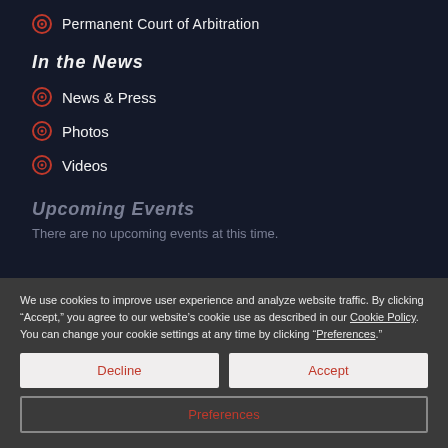Permanent Court of Arbitration
In the News
News & Press
Photos
Videos
Upcoming Events
There are no upcoming events at this time.
Subscribe to AW Blog:
Global Insights from the Field
We use cookies to improve user experience and analyze website traffic. By clicking “Accept,” you agree to our website’s cookie use as described in our Cookie Policy. You can change your cookie settings at any time by clicking “Preferences.”